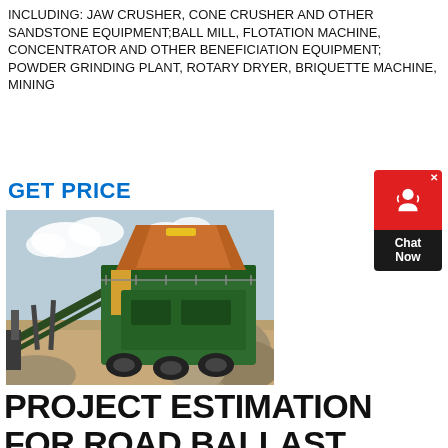INCLUDING: JAW CRUSHER, CONE CRUSHER AND OTHER SANDSTONE EQUIPMENT;BALL MILL, FLOTATION MACHINE, CONCENTRATOR AND OTHER BENEFICIATION EQUIPMENT; POWDER GRINDING PLANT, ROTARY DRYER, BRIQUETTE MACHINE, MINING
GET PRICE
[Figure (photo): A large green jaw/cone crusher machine at a mining or quarry site, surrounded by sand, gravel and rocks, with conveyor belt equipment and a cloudy sky in the background.]
[Figure (other): Chat Now widget — red rounded rectangle with a headset/person icon, dark bottom bar with 'Chat Now' text and an X close button.]
PROJECT ESTIMATION FOR ROAD BALLAST CRUSHER AMP 39 S